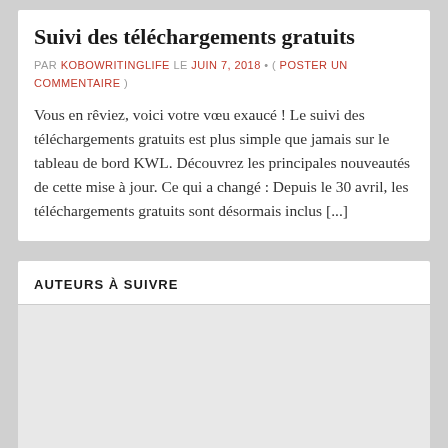Suivi des téléchargements gratuits
PAR KOBOWRITINGLIFE LE JUIN 7, 2018 • ( POSTER UN COMMENTAIRE )
Vous en rêviez, voici votre vœu exaucé ! Le suivi des téléchargements gratuits est plus simple que jamais sur le tableau de bord KWL. Découvrez les principales nouveautés de cette mise à jour. Ce qui a changé : Depuis le 30 avril, les téléchargements gratuits sont désormais inclus [...]
AUTEURS À SUIVRE